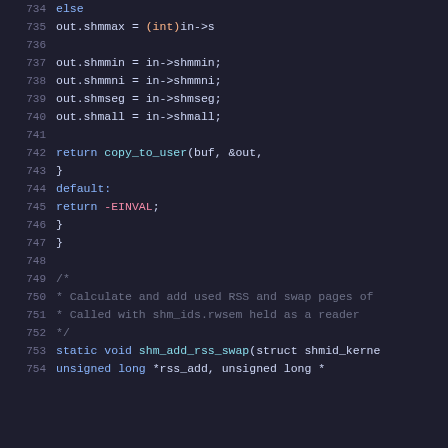Source code snippet, lines 734-754, showing C kernel code for shared memory handling and shm_add_rss_swap function declaration.